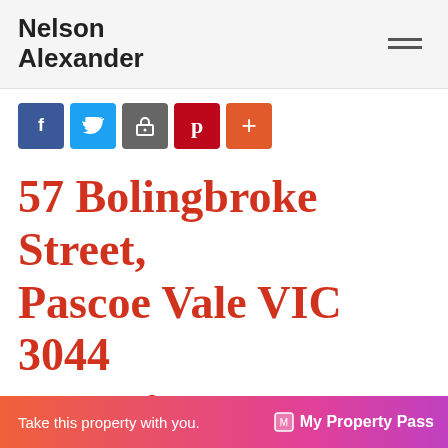Nelson Alexander
[Figure (infographic): Social share buttons: Facebook (blue), Twitter (light blue), Google/home (gray), Pinterest (red), Plus/more (orange-red)]
57 Bolingbroke Street, Pascoe Vale VIC 3044
[Figure (infographic): Property amenities icons: bed icon with number 5, bath icon with number 1, car/garage icon with number 4]
When opportunity knocks!
Take this property with you.  My Property Pass